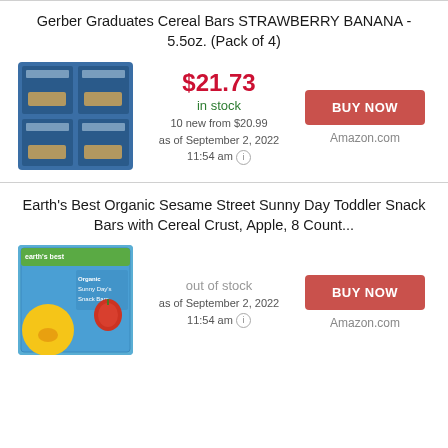Gerber Graduates Cereal Bars STRAWBERRY BANANA - 5.5oz. (Pack of 4)
[Figure (photo): Gerber Graduates Cereal Bars product packaging - 4 blue boxes arranged in 2x2 grid]
$21.73 in stock 10 new from $20.99 as of September 2, 2022 11:54 am
BUY NOW Amazon.com
Earth's Best Organic Sesame Street Sunny Day Toddler Snack Bars with Cereal Crust, Apple, 8 Count...
[Figure (photo): Earth's Best Organic Sesame Street Sunny Day Snack Bars product box with Big Bird character]
out of stock as of September 2, 2022 11:54 am
BUY NOW Amazon.com